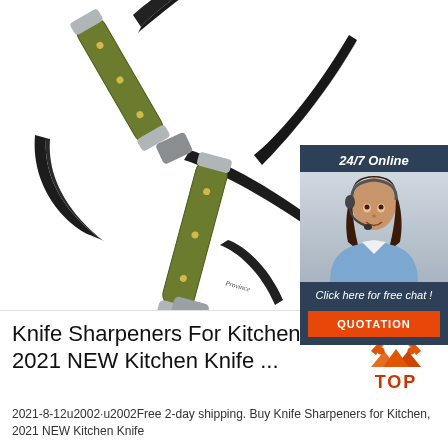[Figure (photo): Two olive-green handled pocket knives with black blades open and displayed on white background. Top knife partially open, bottom knife fully open showing multiple blades.]
[Figure (infographic): 24/7 Online chat widget with dark blue background, photo of smiling woman with headset, text 'Click here for free chat!' and orange QUOTATION button.]
Knife Sharpeners For Kitchen, 2021 NEW Kitchen Knife ...
[Figure (logo): Red and orange TOP badge logo with triangular mountain shape above the word TOP in red.]
2021-8-12u2002·u2002Free 2-day shipping. Buy Knife Sharpeners for Kitchen, 2021 NEW Kitchen Knife